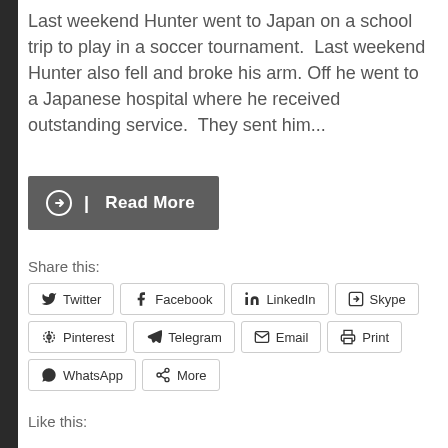Last weekend Hunter went to Japan on a school trip to play in a soccer tournament.  Last weekend Hunter also fell and broke his arm. Off he went to a Japanese hospital where he received outstanding service.  They sent him...
[Figure (other): Read More button with circular arrow icon]
Share this:
Twitter
Facebook
LinkedIn
Skype
Pinterest
Telegram
Email
Print
WhatsApp
More
Like this: